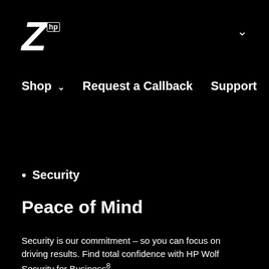Z hp
Shop  Request a Callback  Support
Security
Peace of Mind
Security is our commitment – so you can focus on driving results. Find total confidence with HP Wolf Security for Business 8